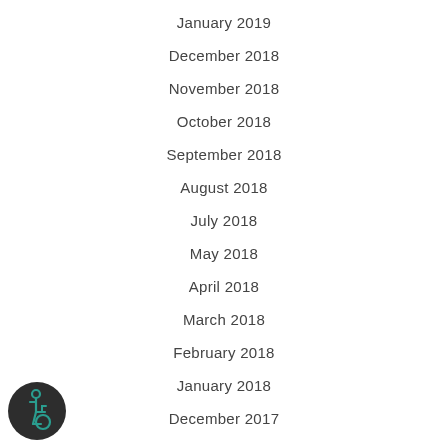January 2019
December 2018
November 2018
October 2018
September 2018
August 2018
July 2018
May 2018
April 2018
March 2018
February 2018
January 2018
December 2017
[Figure (illustration): Accessibility icon: wheelchair symbol in teal on dark circular background]